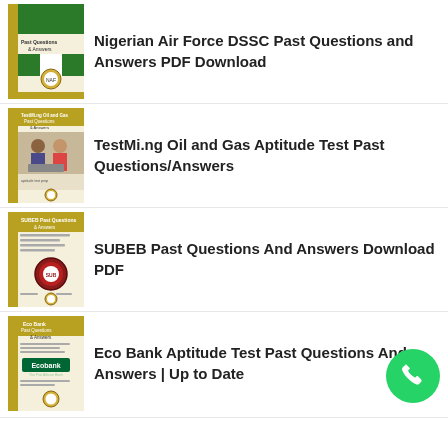Nigerian Air Force DSSC Past Questions and Answers PDF Download
TestMi.ng Oil and Gas Aptitude Test Past Questions/Answers
SUBEB Past Questions And Answers Download PDF
Eco Bank Aptitude Test Past Questions And Answers | Up to Date